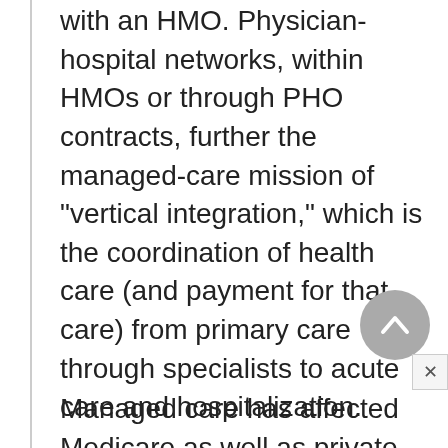with an HMO. Physician-hospital networks, within HMOs or through PHO contracts, further the managed-care mission of "vertical integration," which is the coordination of health care (and payment for that care) from primary care through specialists to acute care and hospitalization.
Managed care has affected Medicare as well as private health care. In 1983, Congress changed the payment system for Medicare, Part A, from a fee-for-service paid retroactively